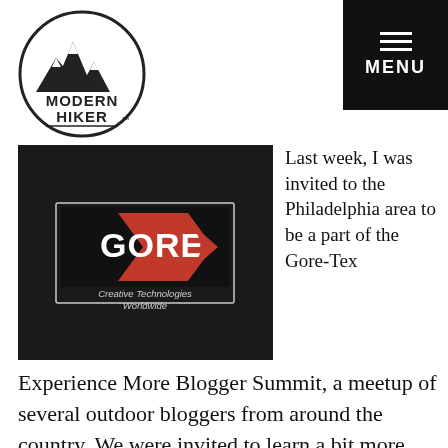[Figure (logo): Modern Hiker circular logo with mountain silhouette and text MODERN HIKER]
[Figure (photo): Photo of Gore Creative Technologies Worldwide logo badge on dark background]
Last week, I was invited to the Philadelphia area to be a part of the Gore-Tex Experience More Blogger Summit, a meetup of several outdoor bloggers from around the country. We were invited to learn a bit more about Gore-Tex and the company behind it, as well as get some behind-the-scenes factory